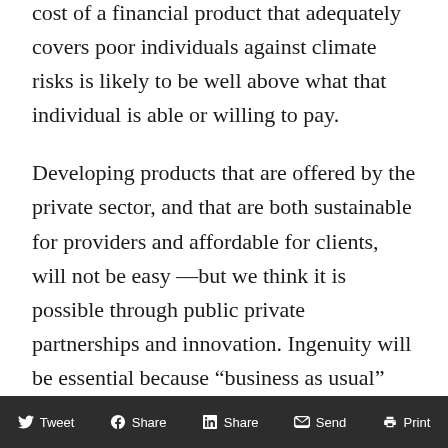cost of a financial product that adequately covers poor individuals against climate risks is likely to be well above what that individual is able or willing to pay.
Developing products that are offered by the private sector, and that are both sustainable for providers and affordable for clients, will not be easy —but we think it is possible through public private partnerships and innovation. Ingenuity will be essential because “business as usual” will not be enough. Some providers have already been grappling with these problems for years and they can point the way for others. For
Tweet  Share  Share  Send  Print